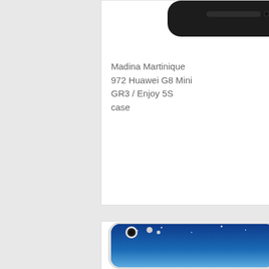[Figure (photo): Top portion of a black smartphone case (Huawei G8 Mini) showing the top edge of the case on white background]
20.8 $
Madina Martinique 972 Huawei G8 Mini GR3 / Enjoy 5S case
[Figure (photo): Smartphone case with a tropical beach scene printed on it - blue sky with stars, white clouds, green palm trees and islands, turquoise water, sandy beach]